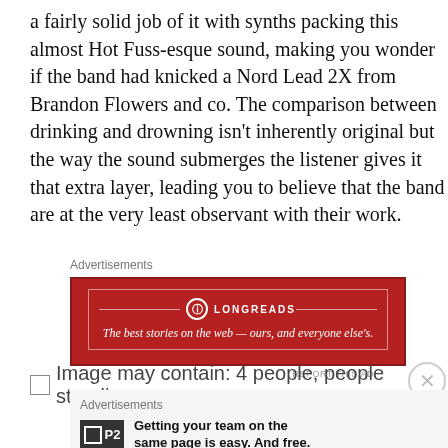a fairly solid job of it with synths packing this almost Hot Fuss-esque sound, making you wonder if the band had knicked a Nord Lead 2X from Brandon Flowers and co. The comparison between drinking and drowning isn't inherently original but the way the sound submerges the listener gives it that extra layer, leading you to believe that the band are at the very least observant with their work.
[Figure (other): Longreads advertisement banner: red background with logo, tagline 'The best stories on the web — ours, and everyone else's.']
Image may contain: 4 people, people standing
[Figure (other): P2 advertisement: logo with text 'Getting your team on the same page is easy. And free.']